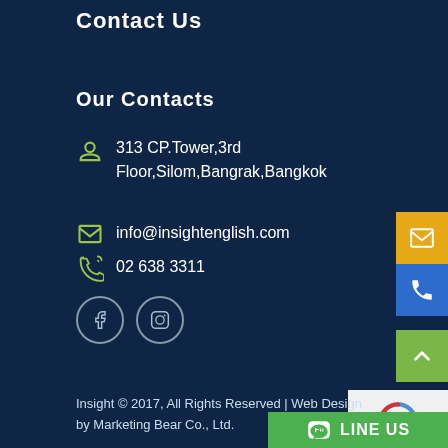Contact Us
Our Contacts
313 CP.Tower,3rd Floor,Silom,Bangrak,Bangkok
info@insightenglish.com
02 638 3311
[Figure (other): Facebook and Instagram social media circular icon buttons]
[Figure (other): Email button (orange/yellow), phone button (blue), scroll-up button (green) on right side]
[Figure (other): reCAPTCHA widget box]
[Figure (other): LINE US green button at bottom right]
Insight © 2017, All Rights Reserved | Web Design by Marketing Bear Co., Ltd.